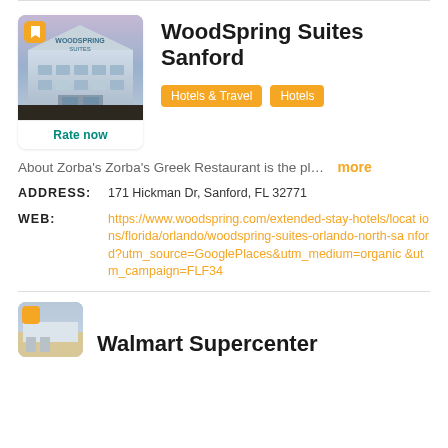[Figure (photo): Photo of WoodSpring Suites Sanford hotel building exterior with bookmark icon overlay]
WoodSpring Suites Sanford
Hotels & Travel   Hotels
Rate now
About Zorba's Zorba's Greek Restaurant is the pl...  more
ADDRESS:   171 Hickman Dr, Sanford, FL 32771
WEB:   https://www.woodspring.com/extended-stay-hotels/locations/florida/orlando/woodspring-suites-orlando-north-sanford?utm_source=GooglePlaces&utm_medium=organic&utm_campaign=FLF34
[Figure (photo): Partial photo of Walmart Supercenter at bottom of page]